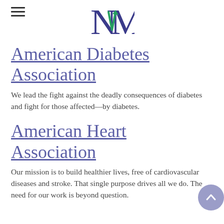NM logo header with hamburger menu
American Diabetes Association
We lead the fight against the deadly consequences of diabetes and fight for those affected—by diabetes.
American Heart Association
Our mission is to build healthier lives, free of cardiovascular diseases and stroke. That single purpose drives all we do. The need for our work is beyond question.